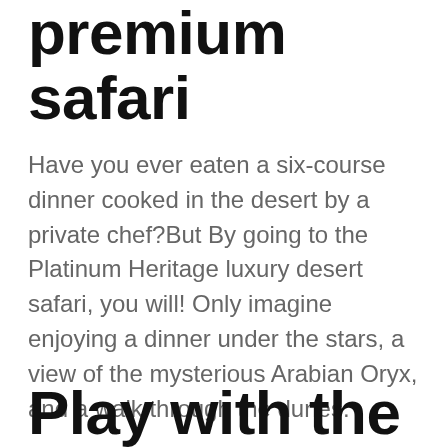premium safari
Have you ever eaten a six-course dinner cooked in the desert by a private chef?But By going to the Platinum Heritage luxury desert safari, you will! Only imagine enjoying a dinner under the stars, a view of the mysterious Arabian Oryx, and a walk through the dunes.
Play with the